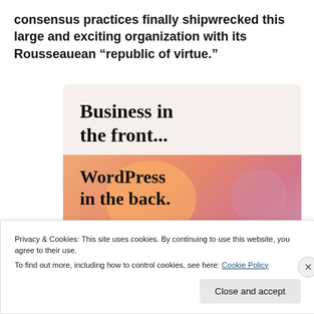consensus practices finally shipwrecked this large and exciting organization with its Rousseauean “republic of virtue.”
[Figure (illustration): Advertisement image with two sections: top light beige section with text 'Business in the front...' in serif font, and bottom section with warm orange/pink gradient background and overlapping circle shapes with text 'WordPress in the back.' in serif font.]
Privacy & Cookies: This site uses cookies. By continuing to use this website, you agree to their use.
To find out more, including how to control cookies, see here: Cookie Policy